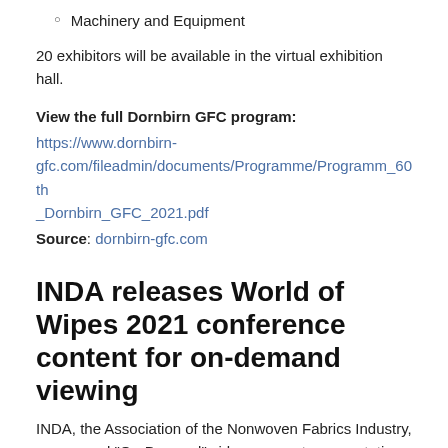Machinery and Equipment
20 exhibitors will be available in the virtual exhibition hall.
View the full Dornbirn GFC program: https://www.dornbirn-gfc.com/fileadmin/documents/Programme/Programm_60th_Dornbirn_GFC_2021.pdf
Source: dornbirn-gfc.com
INDA releases World of Wipes 2021 conference content for on-demand viewing
INDA, the Association of the Nonwoven Fabrics Industry, announced “On-Demand” video access to presentations recorded from the 2021 World of Wipes (WOW)